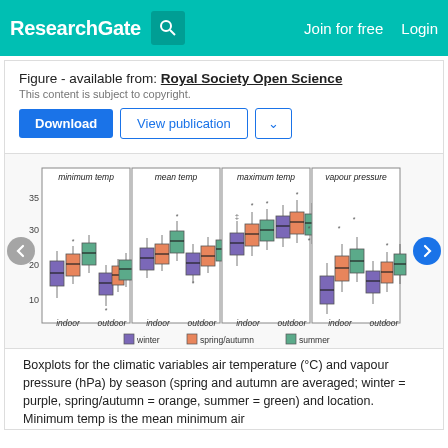ResearchGate   Join for free   Login
Figure - available from: Royal Society Open Science
This content is subject to copyright.
Download   View publication
[Figure (other): Four grouped boxplots showing climatic variables (minimum temp, mean temp, maximum temp, vapour pressure) by season (winter=purple, spring/autumn=orange, summer=green) and location (indoor, outdoor). Y-axis shows values 10-35 for temperature plots. Legend shows winter, spring/autumn, summer.]
Boxplots for the climatic variables air temperature (°C) and vapour pressure (hPa) by season (spring and autumn are averaged; winter = purple, spring/autumn = orange, summer = green) and location. Minimum temp is the mean minimum air